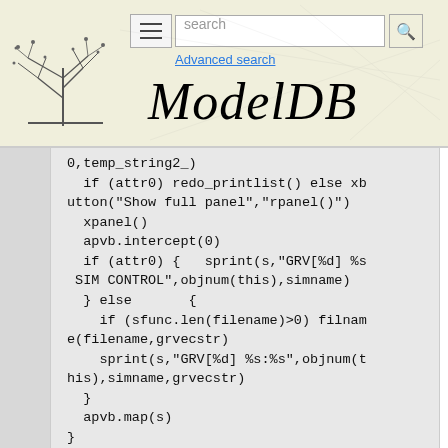[Figure (logo): ModelDB website header with tree logo, hamburger menu, search bar with 'search' placeholder, Advanced search link, and 'ModelDB' italic title text]
0,temp_string2_)
  if (attr0) redo_printlist() else xbutton("Show full panel","rpanel()")
  xpanel()
  apvb.intercept(0)
  if (attr0) {   sprint(s,"GRV[%d] %s SIM CONTROL",objnum(this),simname)
  } else       {
    if (sfunc.len(filename)>0) filename(filename,grvecstr)
    sprint(s,"GRV[%d] %s:%s",objnum(this),simname,grvecstr)
  }
  apvb.map(s)
}

//** sprimp() superimpose on another sim
proc sprimp () {
  super=1